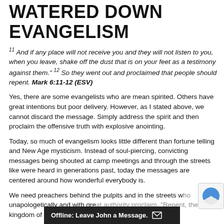WATERED DOWN EVANGELISM
11 And if any place will not receive you and they will not listen to you, when you leave, shake off the dust that is on your feet as a testimony against them." 12 So they went out and proclaimed that people should repent. Mark 6:11-12 (ESV)
Yes, there are some evangelists who are mean spirited. Others have great intentions but poor delivery. However, as I stated above, we cannot discard the message. Simply address the spirit and then proclaim the offensive truth with explosive anointing.
Today, so much of evangelism looks little different than fortune telling and New Age mysticism. Instead of soul-piercing, convicting messages being shouted at camp meetings and through the streets like were heard in generations past, today the messages are centered around how wonderful everybody is.
We need preachers behind the pulpits and in the streets who unapologetically and with great authority proclaim, "Repent, the kingdom of God is at hand!"